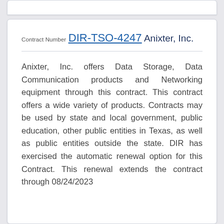Contract Number
DIR-TSO-4247
Anixter, Inc.
Anixter, Inc. offers Data Storage, Data Communication products and Networking equipment through this contract. This contract offers a wide variety of products. Contracts may be used by state and local government, public education, other public entities in Texas, as well as public entities outside the state. DIR has exercised the automatic renewal option for this Contract. This renewal extends the contract through 08/24/2023